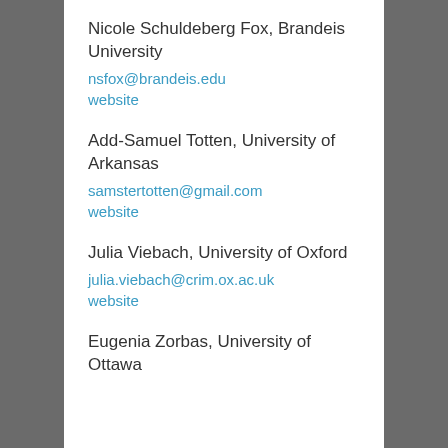Nicole Schuldeberg Fox, Brandeis University
nsfox@brandeis.edu
website
Add-Samuel Totten, University of Arkansas
samstertotten@gmail.com
website
Julia Viebach, University of Oxford
julia.viebach@crim.ox.ac.uk
website
Eugenia Zorbas, University of Ottawa